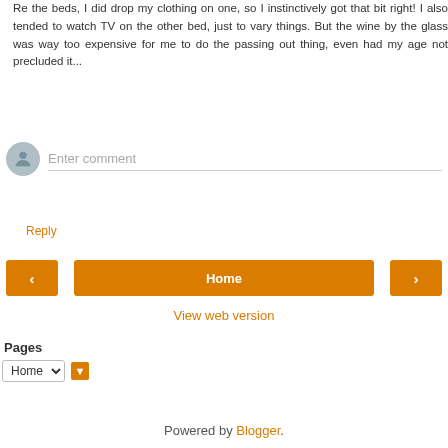Re the beds, I did drop my clothing on one, so I instinctively got that bit right! I also tended to watch TV on the other bed, just to vary things. But the wine by the glass was way too expensive for me to do the passing out thing, even had my age not precluded it...
Reply
Enter comment
Home
View web version
Pages
Home
Powered by Blogger.